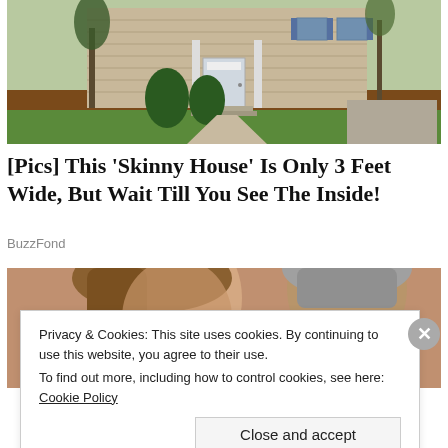[Figure (photo): Exterior photo of a two-story beige/tan house with white trim and front door, evergreen bushes, and a green lawn in spring]
[Pics] This 'Skinny House' Is Only 3 Feet Wide, But Wait Till You See The Inside!
BuzzFond
[Figure (photo): Close-up photo of two people, a woman with long blonde-brown hair and a man with gray hair, partially visible]
Privacy & Cookies: This site uses cookies. By continuing to use this website, you agree to their use.
To find out more, including how to control cookies, see here: Cookie Policy
Close and accept